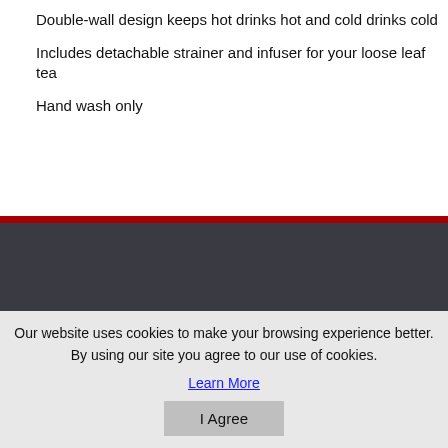Double-wall design keeps hot drinks hot and cold drinks cold
Includes detachable strainer and infuser for your loose leaf tea
Hand wash only
Our website uses cookies to make your browsing experience better. By using our site you agree to our use of cookies.
Learn More
I Agree